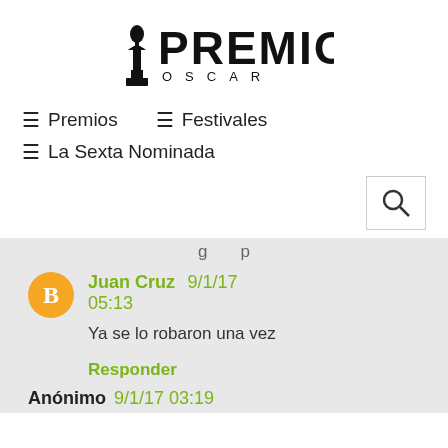[Figure (logo): Premios Oscar logo with Oscar statuette figure and bold PREMIOS text above OSCAR in spaced letters]
≡ Premios   ≡ Festivales
≡ La Sexta Nominada
g p (truncated navigation/search area)
Juan Cruz 9/1/17 05:13
Ya se lo robaron una vez
Responder
Anónimo 9/1/17 03:19